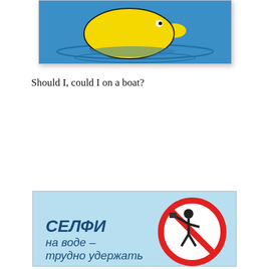[Figure (illustration): Illustration of a yellow rubber duck or similar yellow object floating on blue water with ripples, partially cropped at top of page.]
Should I, could I on a boat?
[Figure (infographic): Russian-language safety infographic with light blue background showing a red prohibition sign over a figure taking a selfie near water, with bold Cyrillic text reading 'СЕЛФИ на воде – трудно удержать' (Selfie on water – hard to hold on).]